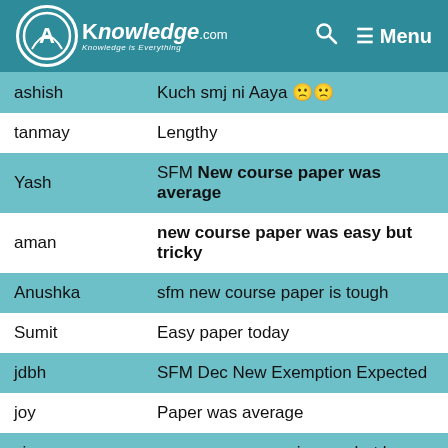AKnowledge.com — Knowledge is Everything | Search | Menu
| Name | Comment |
| --- | --- |
| ashish | Kuch smj ni Aaya 🙁🙁 |
| tanmay | Lengthy |
| Yash | SFM New course paper was average |
| aman | new course paper was easy but tricky |
| Anushka | sfm new course paper is tough |
| Sumit | Easy paper today |
| jdbh | SFM Dec New Exemption Expected |
| joy | Paper was average |
| viru | new course paper is easy but l |